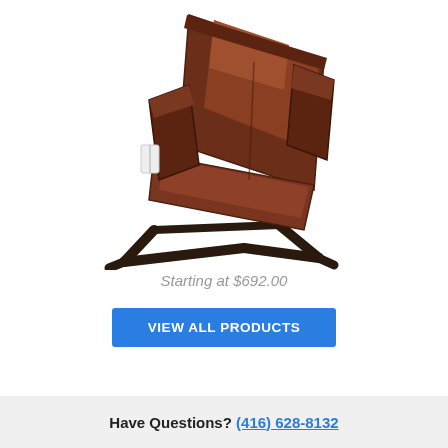[Figure (photo): A brown leather lift recliner chair shown in profile/tilted position, with metal base frame visible, on a white background.]
Starting at $692.00
VIEW ALL PRODUCTS
Have Questions? (416) 628-8132